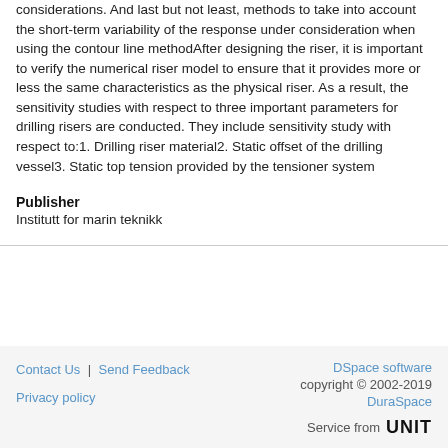considerations. And last but not least, methods to take into account the short-term variability of the response under consideration when using the contour line methodAfter designing the riser, it is important to verify the numerical riser model to ensure that it provides more or less the same characteristics as the physical riser. As a result, the sensitivity studies with respect to three important parameters for drilling risers are conducted. They include sensitivity study with respect to:1. Drilling riser material2. Static offset of the drilling vessel3. Static top tension provided by the tensioner system
Publisher
Institutt for marin teknikk
Contact Us | Send Feedback   DSpace software copyright © 2002-2019 DuraSpace   Privacy policy   Service from UNIT